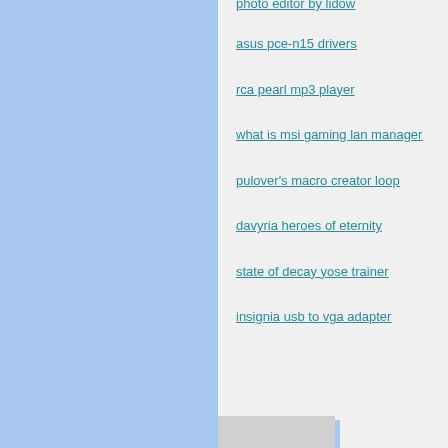photo editor by lidow
asus pce-n15 drivers
rca pearl mp3 player
what is msi gaming lan manager
pulover's macro creator loop
davyria heroes of eternity
state of decay yose trainer
insignia usb to vga adapter